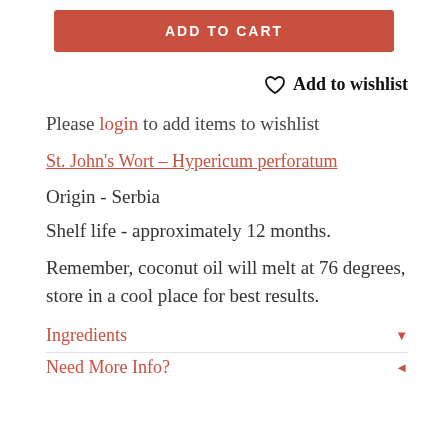[Figure (other): Red 'ADD TO CART' button]
♡  Add to wishlist
Please login to add items to wishlist
St. John's Wort – Hypericum perforatum
Origin - Serbia
Shelf life - approximately 12 months.
Remember, coconut oil will melt at 76 degrees, store in a cool place for best results.
Ingredients ▼
Need More Info? ◄